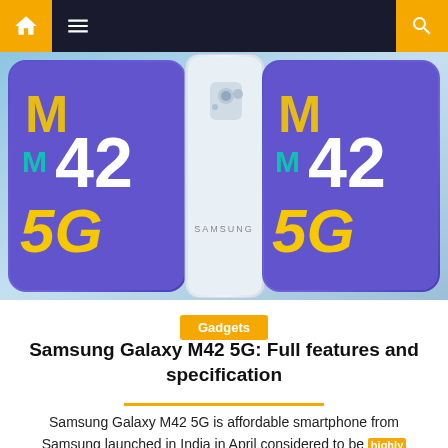[Figure (screenshot): Website navigation bar with home icon, hamburger menu, and search icon on dark background with gold accents]
[Figure (photo): Samsung Galaxy M42 5G smartphone product image showing three views: front view with M42 5G branding on screen, side profile view, and back view, against light blue background]
Gadgets
Samsung Galaxy M42 5G: Full features and specification
Samsung Galaxy M42 5G is affordable smartphone from Samsung launched in India in April considered to be highly affordable smartphone with decent features. Samsung